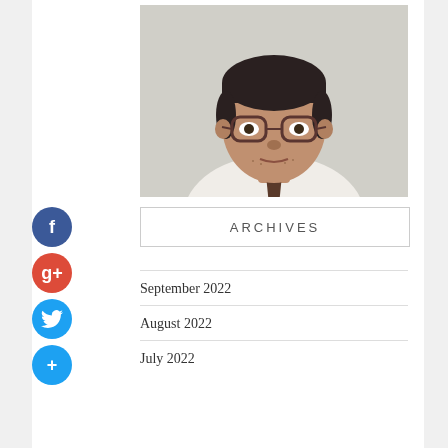[Figure (photo): Headshot of a man wearing glasses, a white dress shirt, and a dark patterned tie, photographed against a light gray background.]
ARCHIVES
September 2022
August 2022
July 2022